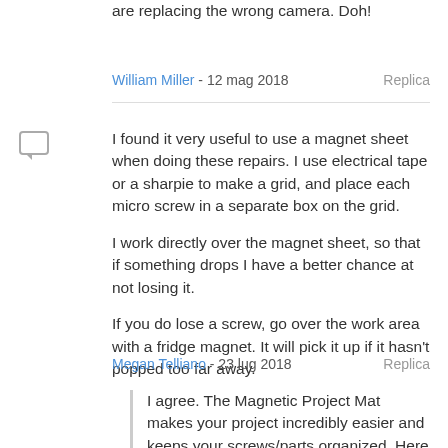are replacing the wrong camera. Doh!
William Miller - 12 mag 2018   Replica
I found it very useful to use a magnet sheet when doing these repairs. I use electrical tape or a sharpie to make a grid, and place each micro screw in a separate box on the grid.

I work directly over the magnet sheet, so that if something drops I have a better chance at not losing it.

If you do lose a screw, go over the work area with a fridge magnet. It will pick it up if it hasn't popped too far away.
Megan Telliano - 23 lug 2018   Replica
I agree. The Magnetic Project Mat makes your project incredibly easier and keeps your screws/parts organized. Here is the link for anyone interested:

Magnetic Project Mat